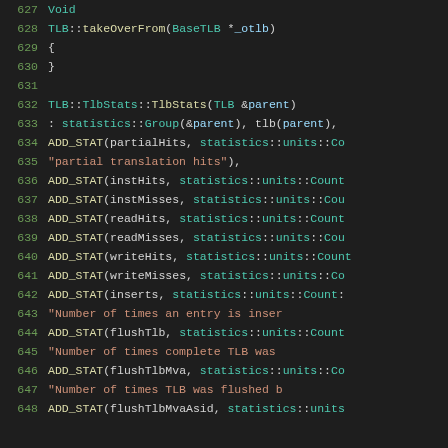[Figure (screenshot): C++ source code editor view showing lines 627-648 with syntax highlighting. Dark background IDE code snippet showing TLB class implementation including takeOverFrom and TlbStats constructor methods.]